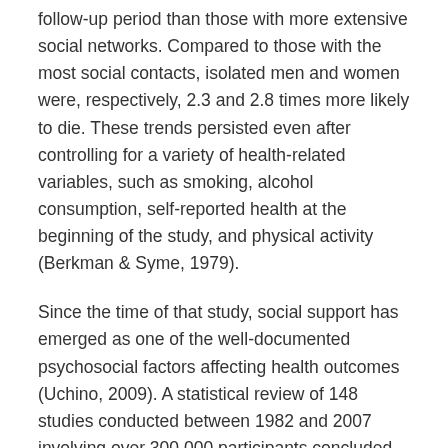follow-up period than those with more extensive social networks. Compared to those with the most social contacts, isolated men and women were, respectively, 2.3 and 2.8 times more likely to die. These trends persisted even after controlling for a variety of health-related variables, such as smoking, alcohol consumption, self-reported health at the beginning of the study, and physical activity (Berkman & Syme, 1979).
Since the time of that study, social support has emerged as one of the well-documented psychosocial factors affecting health outcomes (Uchino, 2009). A statistical review of 148 studies conducted between 1982 and 2007 involving over 300,000 participants concluded that individuals with stronger social relationships have a 50% greater likelihood of survival compared to those with weak or insufficient social relationships (Holt-Lunstad, Smith, & Layton, 2010). According to the